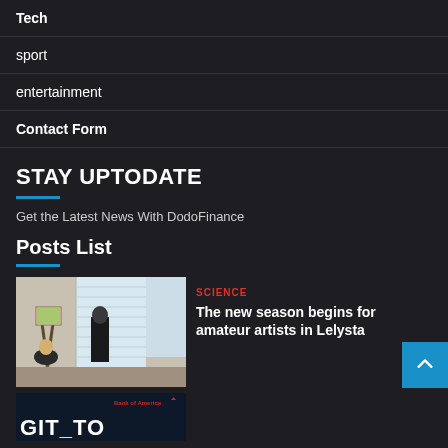Tech
sport
entertainment
Contact Form
STAY UPTODATE
Get the Latest News With DodoFinance
Posts List
[Figure (photo): People painting at easels in an art class studio with natural light from windows]
SCIENCE
The new season begins for amateur artists in Lelysta
[Figure (screenshot): Partial screenshot showing Bank of America logo and large text at bottom of page]